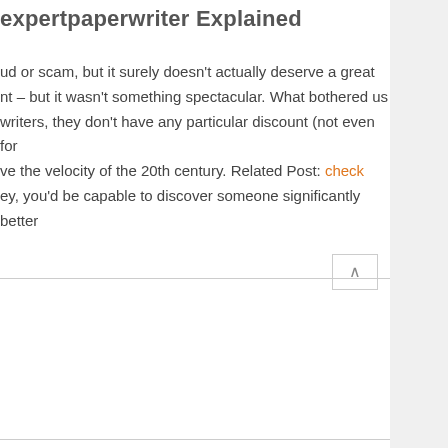expertpaperwriter Explained
ud or scam, but it surely doesn't actually deserve a great nt – but it wasn't something spectacular. What bothered us writers, they don't have any particular discount (not even for ve the velocity of the 20th century. Related Post: check ey, you'd be capable to discover someone significantly better